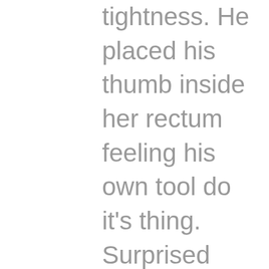tightness. He placed his thumb inside her rectum feeling his own tool do it's thing. Surprised and caught off guard she tried to reach around behind herself to remove his thumb. She thought to herself she never had both holes occupied at the same time and didn't want